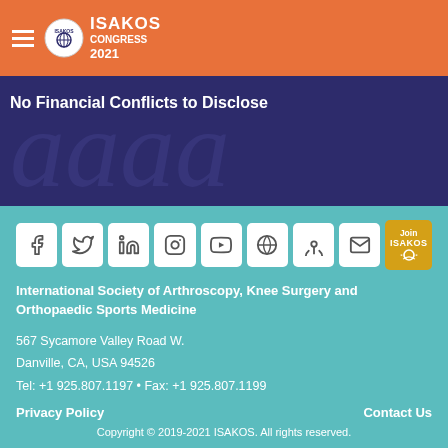[Figure (logo): ISAKOS Congress 2021 logo with orange header bar, hamburger menu, circular emblem, and white text]
No Financial Conflicts to Disclose
[Figure (infographic): Row of social media icons: Facebook, Twitter, LinkedIn, Instagram, YouTube, WordPress, Podcast, Email, and Join ISAKOS button]
International Society of Arthroscopy, Knee Surgery and Orthopaedic Sports Medicine
567 Sycamore Valley Road W.
Danville, CA, USA 94526
Tel: +1 925.807.1197 • Fax: +1 925.807.1199
Privacy Policy
Contact Us
Copyright © 2019-2021 ISAKOS. All rights reserved.